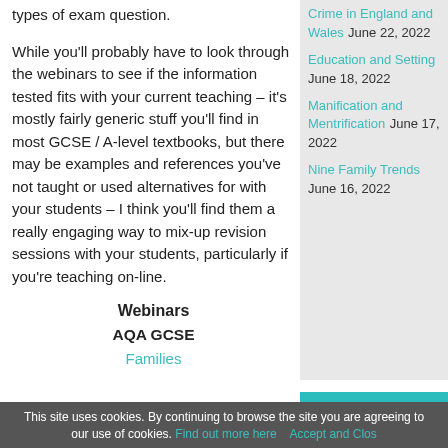types of exam question.
While you'll probably have to look through the webinars to see if the information tested fits with your current teaching – it's mostly fairly generic stuff you'll find in most GCSE / A-level textbooks, but there may be examples and references you've not taught or used alternatives for with your students – I think you'll find them a really engaging way to mix-up revision sessions with your students, particularly if you're teaching on-line.
Webinars
AQA GCSE
Families
Crime in England and Wales June 22, 2022
Education and Setting June 18, 2022
Manification and Mentrification June 17, 2022
Nine Family Trends June 16, 2022
[Figure (logo): SCTV Archive logo in teal box]
This site uses cookies. By continuing to browse the site you are agreeing to our use of cookies. Find out more here. Accept and Close